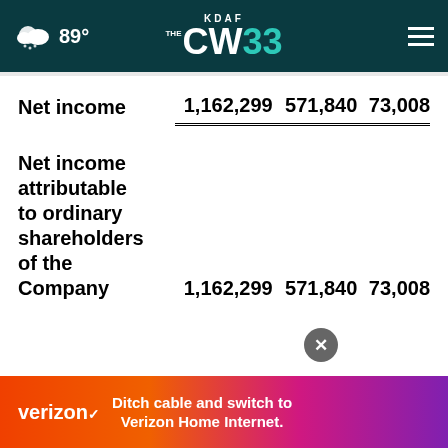KDAF CW33 — 89° weather nav bar
|  | Col1 | Col2 | Col3 |
| --- | --- | --- | --- |
| Net income | 1,162,299 | 571,840 | 73,008 |
| Net income attributable to ordinary shareholders of the Company | 1,162,299 | 571,840 | 73,008 |
[Figure (other): Verizon advertisement banner: orange-to-purple gradient with Verizon logo and text 'Ditch cable and switch to Verizon Home Internet.']